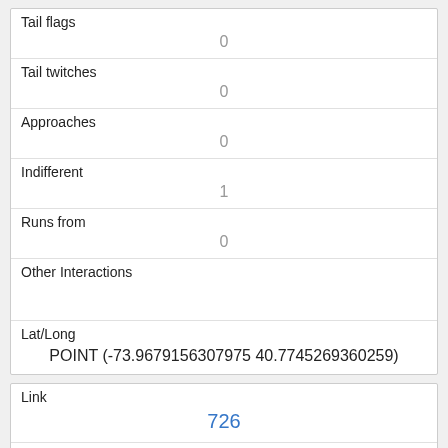| Tail flags | 0 |
| Tail twitches | 0 |
| Approaches | 0 |
| Indifferent | 1 |
| Runs from | 0 |
| Other Interactions |  |
| Lat/Long | POINT (-73.9679156307975 40.7745269360259) |
| Link | 726 |
| rowid | 726 |
| longitude |  |